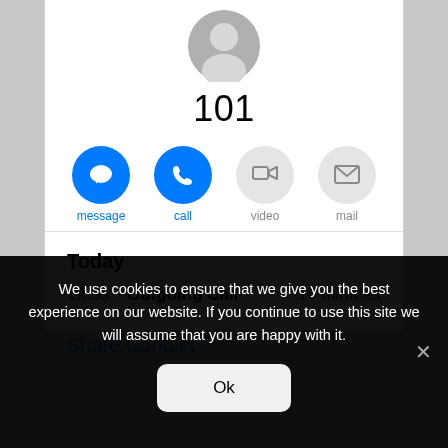[Figure (screenshot): iOS contact screen showing contact number 101 with message, call, video, and mail action buttons]
101
message
call
video
mail
Today
19:35   Outgoing Call   16 minutes
Share Contact
We use cookies to ensure that we give you the best experience on our website. If you continue to use this site we will assume that you are happy with it.
Ok